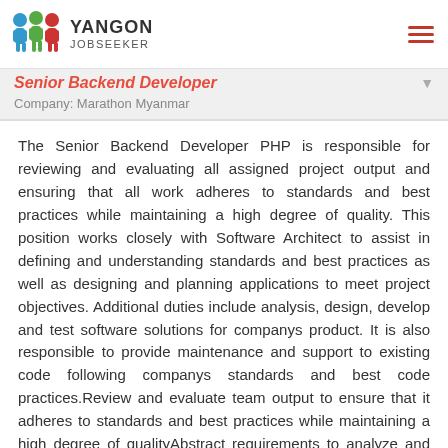YANGON JOBSEEKER
Senior Backend Developer
Company: Marathon Myanmar
The Senior Backend Developer PHP is responsible for reviewing and evaluating all assigned project output and ensuring that all work adheres to standards and best practices while maintaining a high degree of quality. This position works closely with Software Architect to assist in defining and understanding standards and best practices as well as designing and planning applications to meet project objectives. Additional duties include analysis, design, develop and test software solutions for companys product. It is also responsible to provide maintenance and support to existing code following companys standards and best code practices.Review and evaluate team output to ensure that it adheres to standards and best practices while maintaining a high degree of qualityAbstract requirements to analyze and design innovative new software solutions for enhancement of the companys productsDevelop code using best practices and current software patternsFollow companys code standards to